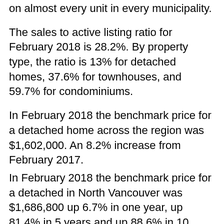on almost every unit in every municipality.
The sales to active listing ratio for February 2018 is 28.2%. By property type, the ratio is 13% for detached homes, 37.6% for townhouses, and 59.7% for condominiums.
In February 2018 the benchmark price for a detached home across the region was $1,602,000. An 8.2% increase from February 2017.
In February 2018 the benchmark price for a detached in North Vancouver was $1,686,800 up 6.7% in one year, up 81.4% in 5 years and up 88.6% in 10 years.
In Richmond the benchmark price was $1,697,900 up